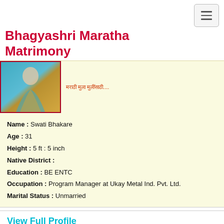[Figure (other): Hamburger menu icon button in top-right corner]
Bhagyashri Maratha Matrimony
[Figure (photo): Profile photo of a woman in teal and gold traditional Indian attire]
मराठी मुला मुलींसाठी....
Name : Swati Bhakare
Age : 31
Height : 5 ft : 5 inch
Native District :
Education : BE ENTC
Occupation : Program Manager at Ukay Metal Ind. Pvt. Ltd.
Marital Status : Unmarried
View Full Profile
Last Login :